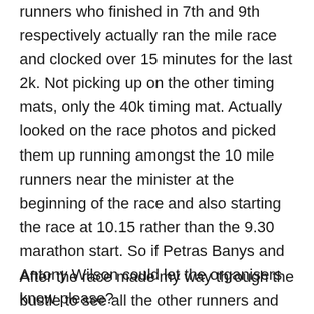runners who finished in 7th and 9th respectively actually ran the mile race and clocked over 15 minutes for the last 2k. Not picking up on the other timing mats, only the 40k timing mat. Actually looked on the race photos and picked them up running amongst the 10 mile runners near the minister at the beginning of the race and also starting the race at 10.15 rather than the 9.30 marathon start. So if Petras Banys and Antony Wilson could let the organisers know please?
After the race made my way through the bustle to see all the other runners and people I know,